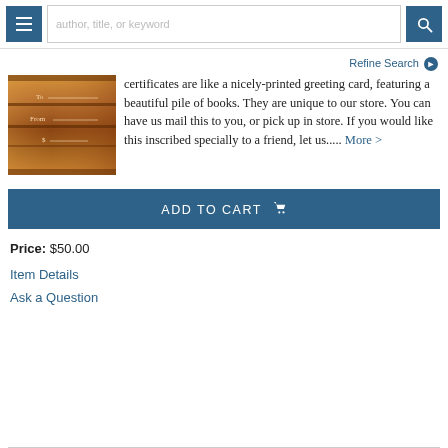author, title, or keyword
Refine Search
[Figure (photo): A gift certificate booklet with wooden background and To, From, $ fields]
certificates are like a nicely-printed greeting card, featuring a beautiful pile of books. They are unique to our store. You can have us mail this to you, or pick up in store. If you would like this inscribed specially to a friend, let us..... More >
ADD TO CART
Price: $50.00
Item Details
Ask a Question